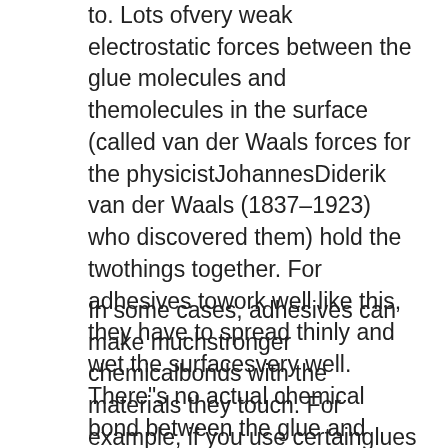to. Lots ofvery weak electrostatic forces between the glue molecules and themolecules in the surface (called van der Waals forces for the physicistJohannesDiderik van der Waals (1837–1923) who discovered them) hold the twothings together. For adhesives towork well like this, they have to spread thinly and wet the surfacesvery well. There"s no actual chemical bond between the glue and thesurface it"s sticking to, just a huge number of tiny attractive forces.The glue molecules stick to the surface molecules like millions ofmicroscopic magnets.
In some cases, adhesives can make muchstronger chemicalbonds with the materials they touch. For example, if you use certainglues on certain plastics, the glue and the plastic actually mergetogether toform a very strong chemical bond—they effectively form a new chemicalcompound at the join. That process is called chemisorption.